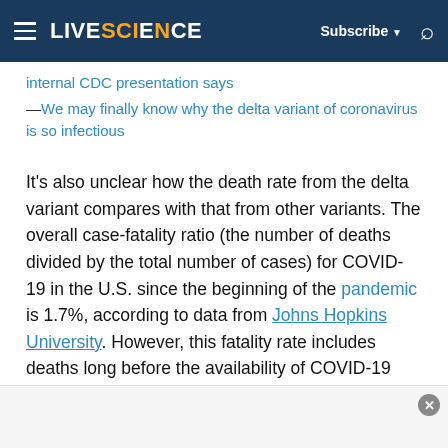LIVESCIENCE  Subscribe  [search]
internal CDC presentation says
—We may finally know why the delta variant of coronavirus is so infectious
It's also unclear how the death rate from the delta variant compares with that from other variants. The overall case-fatality ratio (the number of deaths divided by the total number of cases) for COVID-19 in the U.S. since the beginning of the pandemic is 1.7%, according to data from Johns Hopkins University. However, this fatality rate includes deaths long before the availability of COVID-19 vaccines. Since the delta